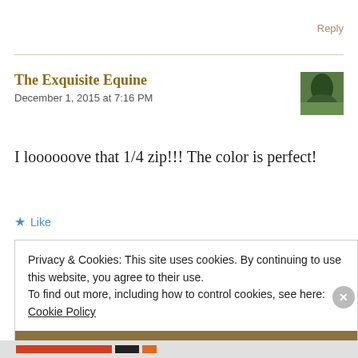Reply
The Exquisite Equine
December 1, 2015 at 7:16 PM
I loooooove that 1/4 zip!!! The color is perfect!
★ Like
Privacy & Cookies: This site uses cookies. By continuing to use this website, you agree to their use.
To find out more, including how to control cookies, see here:
Cookie Policy
Close and accept